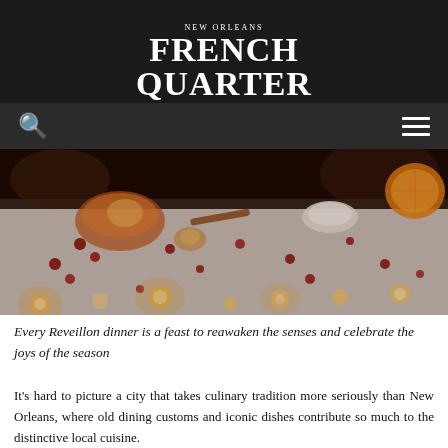New Orleans French Quarter .com
[Figure (photo): Holiday festive table scene with candles, cranberries, orange slices, and warm glowing lights on a white textured surface]
Every Reveillon dinner is a feast to reawaken the senses and celebrate the joys of the season
It's hard to picture a city that takes culinary tradition more seriously than New Orleans, where old dining customs and iconic dishes contribute so much to the distinctive local cuisine.